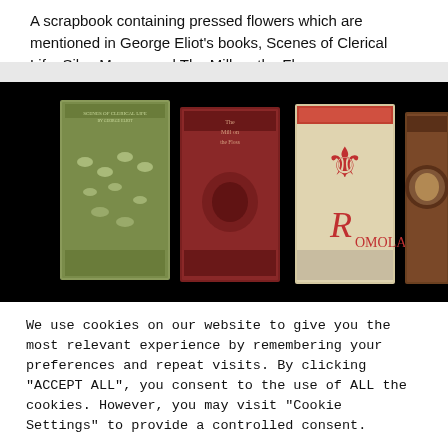A scrapbook containing pressed flowers which are mentioned in George Eliot's books, Scenes of Clerical Life, Silas Marner and The Mill on the Floss
[Figure (photo): Four antique George Eliot books standing upright against a black background. From left to right: a green decorated book (Scenes of Clerical Life), a dark red book (The Mill on the Floss), a cream and red book (Romola), and a dark brown book.]
We use cookies on our website to give you the most relevant experience by remembering your preferences and repeat visits. By clicking "ACCEPT ALL", you consent to the use of ALL the cookies. However, you may visit "Cookie Settings" to provide a controlled consent.
Cookie Settings   REJECT ALL   ACCEPT ALL